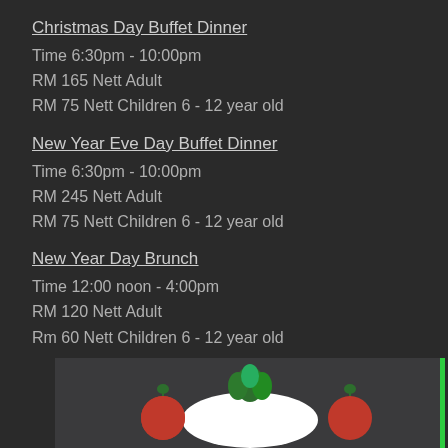Christmas Day Buffet Dinner
Time 6:30pm - 10:00pm
RM 165 Nett Adult
RM 75 Nett Children 6 - 12 year old
New Year Eve Day Buffet Dinner
Time 6:30pm - 10:00pm
RM 245 Nett Adult
RM 75 Nett Children 6 - 12 year old
New Year Day Brunch
Time 12:00 noon - 4:00pm
RM 120 Nett Adult
Rm 60 Nett Children 6 - 12 year old
[Figure (photo): A white plate with two red tomatoes on either side and green herb/parsley on top, on a dark background]